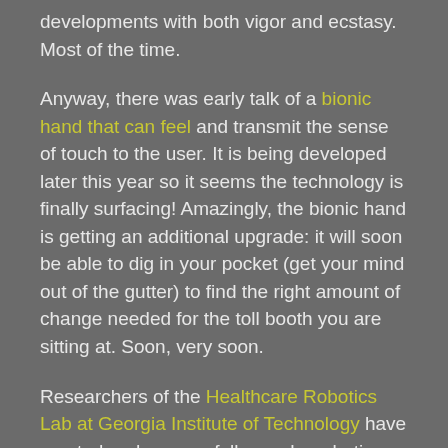developments with both vigor and ecstasy. Most of the time.
Anyway, there was early talk of a bionic hand that can feel and transmit the sense of touch to the user. It is being developed later this year so it seems the technology is finally surfacing! Amazingly, the bionic hand is getting an additional upgrade: it will soon be able to dig in your pocket (get your mind out of the gutter) to find the right amount of change needed for the toll booth you are sitting at. Soon, very soon.
Researchers of the Healthcare Robotics Lab at Georgia Institute of Technology have created and successfully used a robotic arm which identifies items based on how each object feels. This new robot can maneuver around an area to reach a certain goal: even when lightly coming